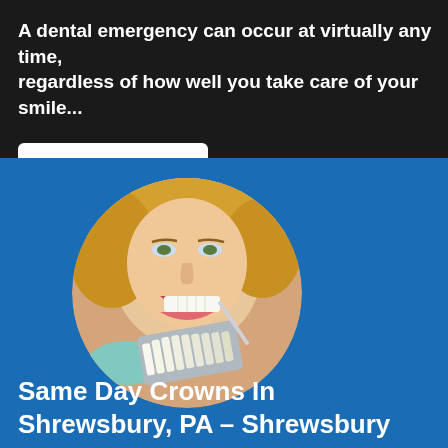A dental emergency can occur at virtually any time, regardless of how well you take care of your smile...
LEARN MORE
[Figure (photo): Circular photo of a woman at a dental appointment, mouth open, with a dentist holding a tooth shade guide near her teeth]
Same Day Crowns In Shrewsbury, PA – Shrewsbury